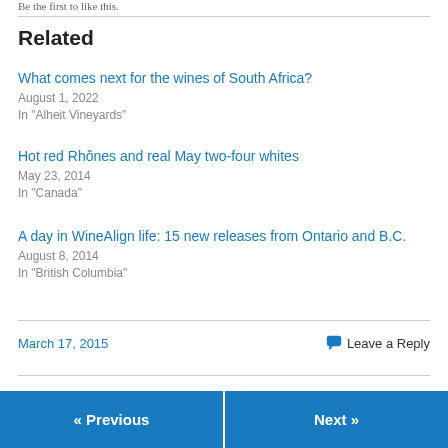Be the first to like this.
Related
What comes next for the wines of South Africa?
August 1, 2022
In "Alheit Vineyards"
Hot red Rhônes and real May two-four whites
May 23, 2014
In "Canada"
A day in WineAlign life: 15 new releases from Ontario and B.C.
August 8, 2014
In "British Columbia"
March 17, 2015
Leave a Reply
« Previous
Next »